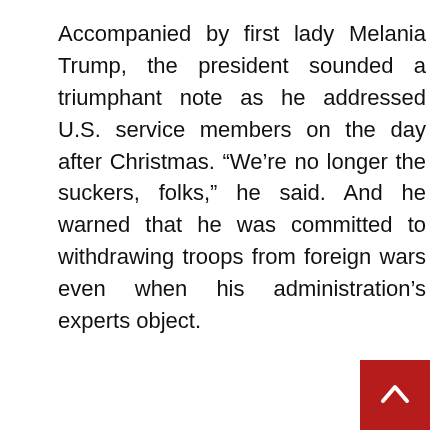Accompanied by first lady Melania Trump, the president sounded a triumphant note as he addressed U.S. service members on the day after Christmas. “We’re no longer the suckers, folks,” he said. And he warned that he was committed to withdrawing troops from foreign wars even when his administration’s experts object.
[Figure (other): Red scroll-to-top button with white upward chevron arrow in the bottom-right corner]